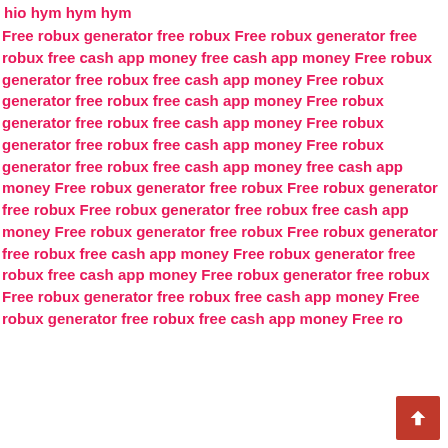hio hym hym hym Free robux generator free robux Free robux generator free robux free cash app money free cash app money Free robux generator free robux free cash app money Free robux generator free robux free cash app money Free robux generator free robux free cash app money Free robux generator free robux free cash app money Free robux generator free robux free cash app money free cash app money Free robux generator free robux Free robux generator free robux Free robux generator free robux free cash app money Free robux generator free robux Free robux generator free robux free cash app money Free robux generator free robux free cash app money Free robux generator free robux Free robux generator free robux free cash app money Free robux generator free robux free cash app money Free ro